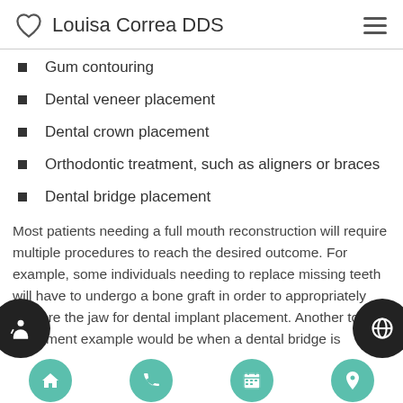Louisa Correa DDS
Gum contouring
Dental veneer placement
Dental crown placement
Orthodontic treatment, such as aligners or braces
Dental bridge placement
Most patients needing a full mouth reconstruction will require multiple procedures to reach the desired outcome. For example, some individuals needing to replace missing teeth will have to undergo a bone graft in order to appropriately prepare the jaw for dental implant placement. Another tooth placement example would be when a dental bridge is